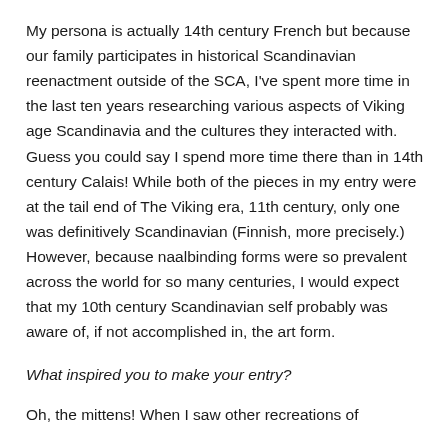My persona is actually 14th century French but because our family participates in historical Scandinavian reenactment outside of the SCA, I've spent more time in the last ten years researching various aspects of Viking age Scandinavia and the cultures they interacted with. Guess you could say I spend more time there than in 14th century Calais! While both of the pieces in my entry were at the tail end of The Viking era, 11th century, only one was definitively Scandinavian (Finnish, more precisely.) However, because naalbinding forms were so prevalent across the world for so many centuries, I would expect that my 10th century Scandinavian self probably was aware of, if not accomplished in, the art form.
What inspired you to make your entry?
Oh, the mittens! When I saw other recreations of